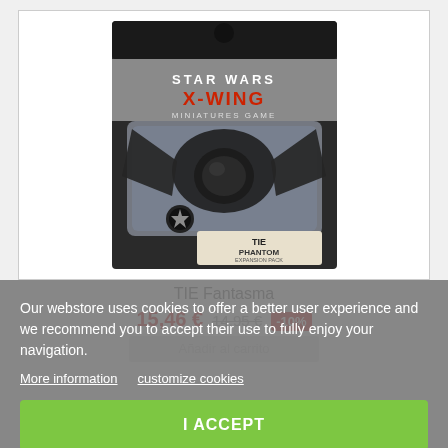[Figure (photo): Star Wars X-Wing Miniatures Game: TIE Phantom Expansion Pack product box. The packaging shows the Star Wars X-Wing logo in red and white on a dark background, with a TIE Phantom miniature spacecraft visible inside a clear plastic blister pack. The label at the bottom reads 'TIE Phantom Expansion Pack'.]
TIE Fantasma
15,46 € 14,95 € -10%
Our webstore uses cookies to offer a better user experience and we recommend you to accept their use to fully enjoy your navigation.
More information   customize cookies
I ACCEPT